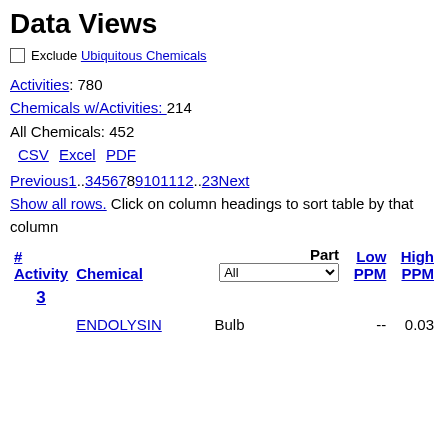Data Views
Exclude Ubiquitous Chemicals
Activities: 780
Chemicals w/Activities: 214
All Chemicals: 452
CSV  Excel  PDF
Previous1..3456789101112..23Next
Show all rows. Click on column headings to sort table by that column
| #
Activity | Chemical | Part | Low PPM | High PPM |
| --- | --- | --- | --- | --- |
| 3 |  |  |  |  |
|  | ENDOLYSIN | Bulb | -- | 0.03 |